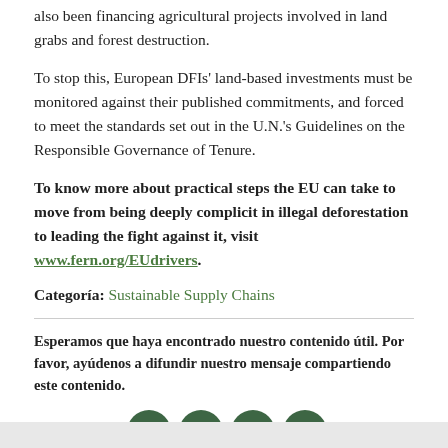also been financing agricultural projects involved in land grabs and forest destruction.
To stop this, European DFIs' land-based investments must be monitored against their published commitments, and forced to meet the standards set out in the U.N.'s Guidelines on the Responsible Governance of Tenure.
To know more about practical steps the EU can take to move from being deeply complicit in illegal deforestation to leading the fight against it, visit www.fern.org/EUdrivers.
Categoría: Sustainable Supply Chains
Esperamos que haya encontrado nuestro contenido útil. Por favor, ayúdenos a difundir nuestro mensaje compartiendo este contenido.
Compartir: